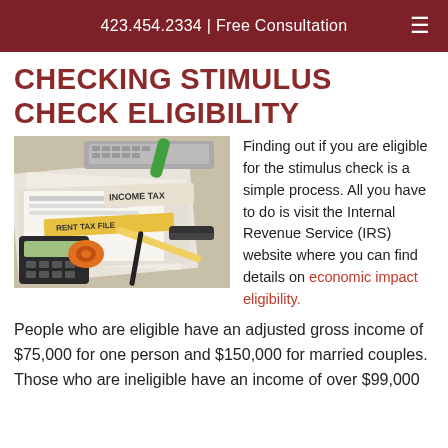423.454.2334 | Free Consultation
CHECKING STIMULUS CHECK ELIGIBILITY
[Figure (photo): A desk covered with tax documents including income tax forms, a RENT TAX FILE folder, a calculator, pencils, a tape dispenser, and a keyboard in the background.]
Finding out if you are eligible for the stimulus check is a simple process. All you have to do is visit the Internal Revenue Service (IRS) website where you can find details on economic impact eligibility.
People who are eligible have an adjusted gross income of $75,000 for one person and $150,000 for married couples. Those who are ineligible have an income of over $99,000